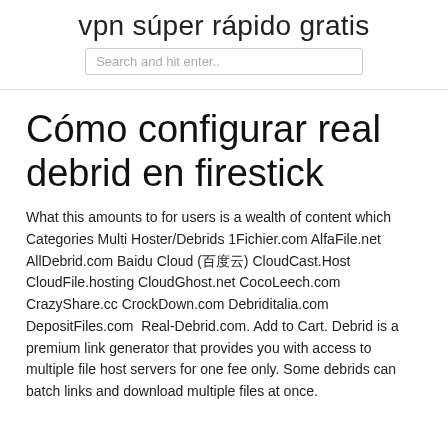vpn súper rápido gratis
Search and hit enter..
Cómo configurar real debrid en firestick
What this amounts to for users is a wealth of content which Categories Multi Hoster/Debrids 1Fichier.com AlfaFile.net AllDebrid.com Baidu Cloud (百度云) CloudCast.Host CloudFile.hosting CloudGhost.net CocoLeech.com CrazyShare.cc CrockDown.com Debriditalia.com DepositFiles.com  Real-Debrid.com. Add to Cart. Debrid is a premium link generator that provides you with access to multiple file host servers for one fee only. Some debrids can batch links and download multiple files at once.